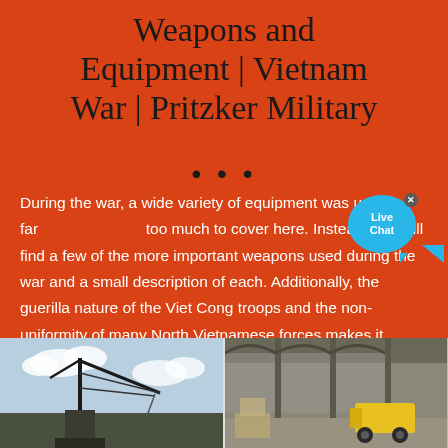Weapons and Equipment | Vietnam War | Pritzker Military
...
During the war, a wide variety of equipment was used, far too much to cover here. Instead, you will find a few of the more important weapons used during the war and a small description of each. Additionally, the guerilla nature of the Viet Cong troops and the non-uniformity of many North Vietnamese forces makes it difficult to speak of their equipment in comparison to the United States.
[Figure (photo): Two photographs at the bottom of the page: left shows a crane or industrial equipment against a cloudy sky; right shows a building interior with a yellow vehicle or machinery.]